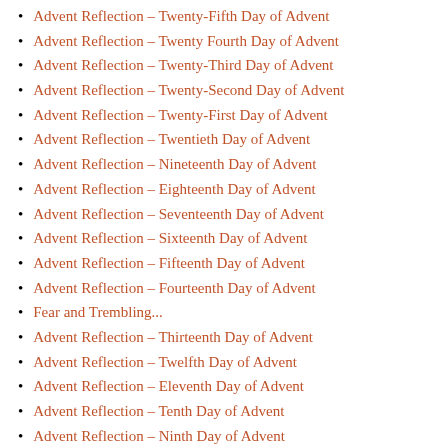Advent Reflection – Twenty-Fifth Day of Advent
Advent Reflection – Twenty Fourth Day of Advent
Advent Reflection – Twenty-Third Day of Advent
Advent Reflection – Twenty-Second Day of Advent
Advent Reflection – Twenty-First Day of Advent
Advent Reflection – Twentieth Day of Advent
Advent Reflection – Nineteenth Day of Advent
Advent Reflection – Eighteenth Day of Advent
Advent Reflection – Seventeenth Day of Advent
Advent Reflection – Sixteenth Day of Advent
Advent Reflection – Fifteenth Day of Advent
Advent Reflection – Fourteenth Day of Advent
Fear and Trembling...
Advent Reflection – Thirteenth Day of Advent
Advent Reflection – Twelfth Day of Advent
Advent Reflection – Eleventh Day of Advent
Advent Reflection – Tenth Day of Advent
Advent Reflection – Ninth Day of Advent
Advent Reflection – Eighth Day of Advent